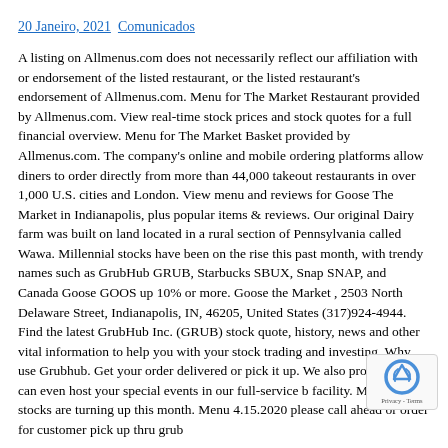20 Janeiro, 2021   Comunicados
A listing on Allmenus.com does not necessarily reflect our affiliation with or endorsement of the listed restaurant, or the listed restaurant's endorsement of Allmenus.com. Menu for The Market Restaurant provided by Allmenus.com. View real-time stock prices and stock quotes for a full financial overview. Menu for The Market Basket provided by Allmenus.com. The company's online and mobile ordering platforms allow diners to order directly from more than 44,000 takeout restaurants in over 1,000 U.S. cities and London. View menu and reviews for Goose The Market in Indianapolis, plus popular items & reviews. Our original Dairy farm was built on land located in a rural section of Pennsylvania called Wawa. Millennial stocks have been on the rise this past month, with trendy names such as GrubHub GRUB, Starbucks SBUX, Snap SNAP, and Canada Goose GOOS up 10% or more. Goose the Market , 2503 North Delaware Street, Indianapolis, IN, 46205, United States (317)924-4944. Find the latest GrubHub Inc. (GRUB) stock quote, history, news and other vital information to help you with your stock trading and investing. Why use Grubhub. Get your order delivered or pick it up. We also provide ca and can even host your special events in our full-service b facility. Millennial stocks are turning up this month. Menu 4.15.2020 please call ahead or order for customer pick up thru grub